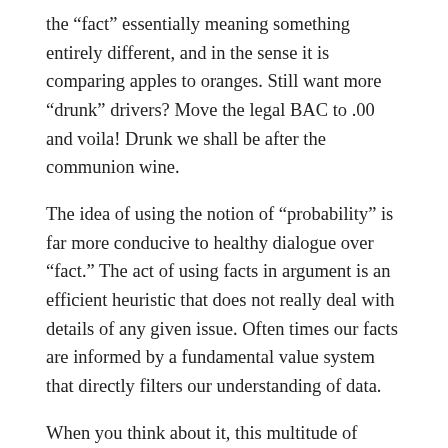the “fact” essentially meaning something entirely different, and in the sense it is comparing apples to oranges. Still want more “drunk” drivers? Move the legal BAC to .00 and voila! Drunk we shall be after the communion wine.
The idea of using the notion of “probability” is far more conducive to healthy dialogue over “fact.” The act of using facts in argument is an efficient heuristic that does not really deal with details of any given issue. Often times our facts are informed by a fundamental value system that directly filters our understanding of data.
When you think about it, this multitude of differing perceptions, understandings, and interpretations of facts, data and information in general, is what makes the world a much more interesting place. When one believes they are right because the “facts” are on their side, this is a red flag warning of dogmatic and closed-minded thinking that critical thinkers should not practice.
Whether it be political, social, or personal, most are driven by an